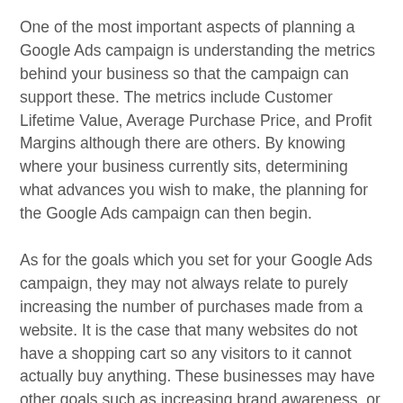One of the most important aspects of planning a Google Ads campaign is understanding the metrics behind your business so that the campaign can support these. The metrics include Customer Lifetime Value, Average Purchase Price, and Profit Margins although there are others. By knowing where your business currently sits, determining what advances you wish to make, the planning for the Google Ads campaign can then begin.
As for the goals which you set for your Google Ads campaign, they may not always relate to purely increasing the number of purchases made from a website. It is the case that many websites do not have a shopping cart so any visitors to it cannot actually buy anything. These businesses may have other goals such as increasing brand awareness, or generating leads via